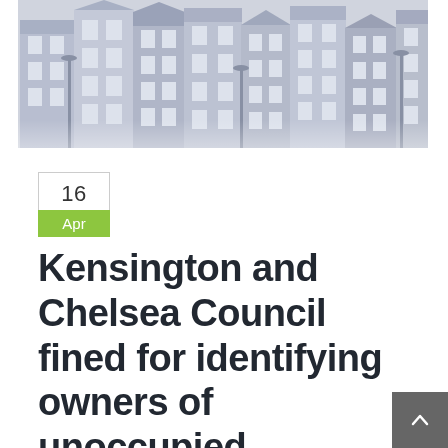[Figure (photo): Row of Victorian-style terraced houses with blue-grey tint, viewed at an angle from street level]
16
Apr
Kensington and Chelsea Council fined for identifying owners of unoccupied properties in